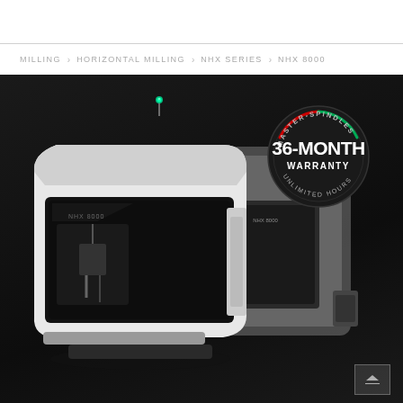MILLING > HORIZONTAL MILLING > NHX SERIES > NHX 8000
[Figure (photo): NHX 8000 horizontal milling CNC machine center shown in white and gray against a dark background. Overlay badge reads MASTER-SPINDLES 36-MONTH WARRANTY UNLIMITED HOURS.]